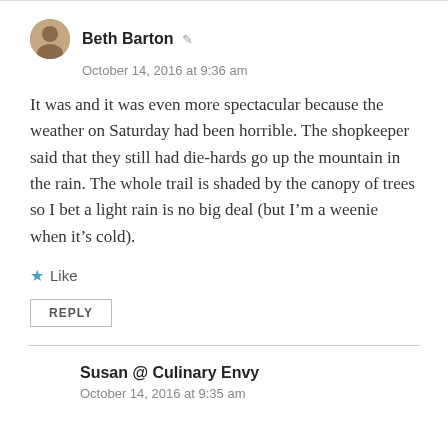Beth Barton
October 14, 2016 at 9:36 am
It was and it was even more spectacular because the weather on Saturday had been horrible. The shopkeeper said that they still had die-hards go up the mountain in the rain. The whole trail is shaded by the canopy of trees so I bet a light rain is no big deal (but I’m a weenie when it’s cold).
Like
REPLY
Susan @ Culinary Envy
October 14, 2016 at 9:35 am